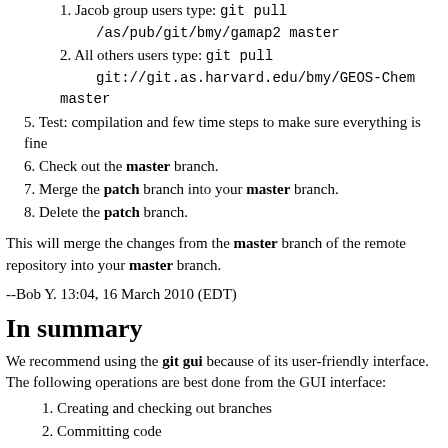1. Jacob group users type: git pull /as/pub/git/bmy/gamap2 master
2. All others users type: git pull git://git.as.harvard.edu/bmy/GEOS-Chem master
5. Test: compilation and few time steps to make sure everything is fine
6. Check out the master branch.
7. Merge the patch branch into your master branch.
8. Delete the patch branch.
This will merge the changes from the master branch of the remote repository into your master branch.
--Bob Y. 13:04, 16 March 2010 (EDT)
In summary
We recommend using the git gui because of its user-friendly interface. The following operations are best done from the GUI interface:
1. Creating and checking out branches
2. Committing code
3. Merging code
4. Deleting branches